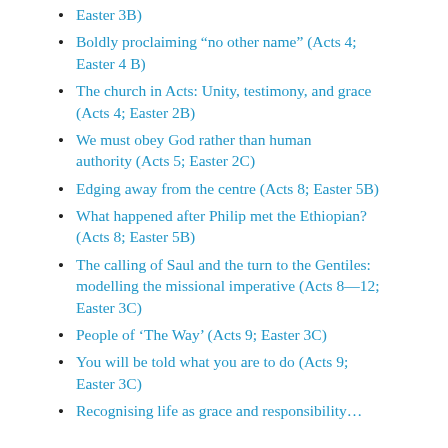Easter 3B)
Boldly proclaiming “no other name” (Acts 4; Easter 4 B)
The church in Acts: Unity, testimony, and grace (Acts 4; Easter 2B)
We must obey God rather than human authority (Acts 5; Easter 2C)
Edging away from the centre (Acts 8; Easter 5B)
What happened after Philip met the Ethiopian? (Acts 8; Easter 5B)
The calling of Saul and the turn to the Gentiles: modelling the missional imperative (Acts 8—12; Easter 3C)
People of ‘The Way’ (Acts 9; Easter 3C)
You will be told what you are to do (Acts 9; Easter 3C)
Recognising life as grace and responsibility…